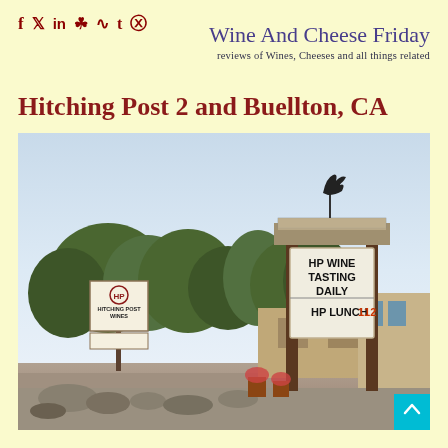f y in [instagram] [rss] t [pinterest]
Wine And Cheese Friday
reviews of Wines, Cheeses and all things related
Hitching Post 2 and Buellton, CA
[Figure (photo): Outdoor photo of Hitching Post Wines location in Buellton, CA. Shows two signs: a smaller sign reading 'HITCHING POST WINES' with an HP logo, and a larger marquee sign reading 'HP WINE TASTING DAILY' and 'HP LUNCH 112'. A metal rooster weathervane sits atop the larger sign structure. Trees and buildings visible in background under a light blue sky.]